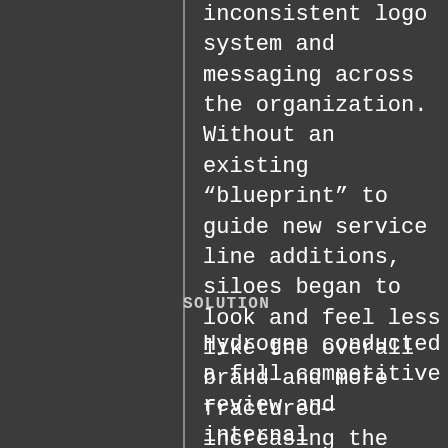inconsistent logo system and messaging across the organization. Without an existing “blueprint” to guide new service line additions, siloes began to look and feel less like the overall brand and more fractured—increasing the confusion and diluting the power of their brand.
SOLUTION
Hydrogen conducted a full competitive review and internal stakeholder interviews with each service line CEO, as well as the